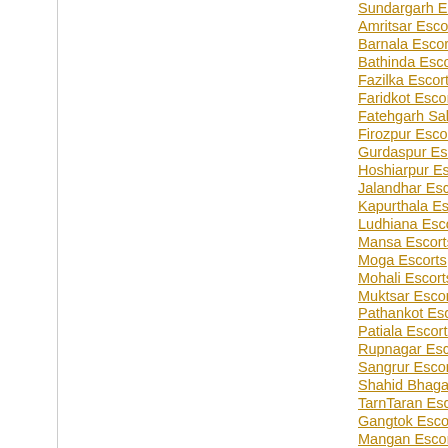Sundargarh Escorts
Amritsar Escorts
Barnala Escorts
Bathinda Escorts
Fazilka Escorts
Faridkot Escorts
Fatehgarh Sahib Escorts
Firozpur Escorts
Gurdaspur Escorts
Hoshiarpur Escorts
Jalandhar Escorts
Kapurthala Escorts
Ludhiana Escorts
Mansa Escorts
Moga Escorts
Mohali Escorts
Muktsar Escorts
Pathankot Escorts
Patiala Escorts
Rupnagar Escorts
Sangrur Escorts
Shahid Bhagat Singh Nagar Escorts
TarnTaran Escorts
Gangtok Escorts
Mangan Escorts
Namchi Escorts
Geyzing Escorts
Ariyalur Escorts
Chengalpattu Escorts
Chennai Escorts